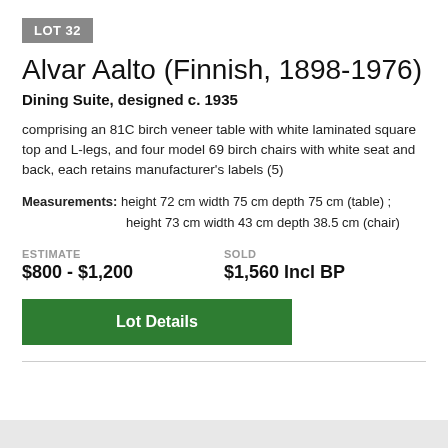LOT 32
Alvar Aalto (Finnish, 1898-1976)
Dining Suite, designed c. 1935
comprising an 81C birch veneer table with white laminated square top and L-legs, and four model 69 birch chairs with white seat and back, each retains manufacturer's labels (5)
Measurements: height 72 cm width 75 cm depth 75 cm (table) ; height 73 cm width 43 cm depth 38.5 cm (chair)
ESTIMATE
$800 - $1,200
SOLD
$1,560 Incl BP
Lot Details